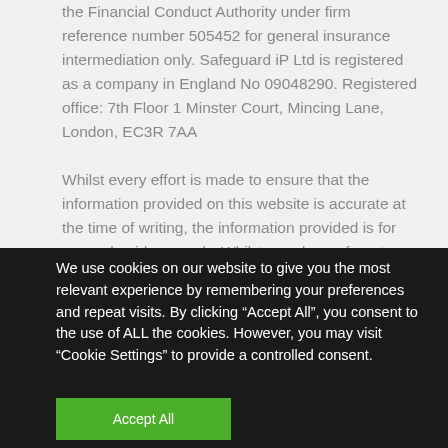the Financial Conduct Authority under firm reference number 505452 for general insurance intermediation only. Safeguard iP Ltd is registered as a company in England No 09048290. Registered office: 7th Floor 1 Minster Court, Mincing Lane, London, EC3R 7AA
Whilst every effort is made to ensure that the information provided on this website is accurate at the time of writing, the information provided is for general guidance only. Whilst members of our team are legally qualified any advice given is not legal advice and is not a substitute for
We use cookies on our website to give you the most relevant experience by remembering your preferences and repeat visits. By clicking “Accept All”, you consent to the use of ALL the cookies. However, you may visit “Cookie Settings” to provide a controlled consent.
Accept All